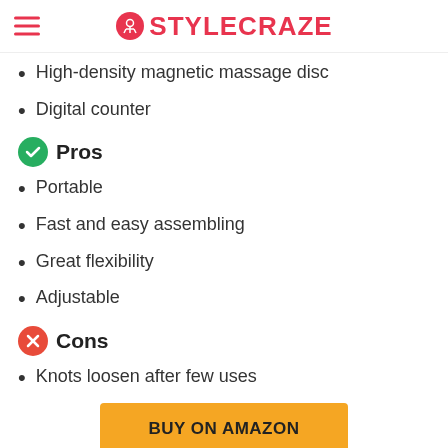STYLECRAZE
High-density magnetic massage disc
Digital counter
Pros
Portable
Fast and easy assembling
Great flexibility
Adjustable
Cons
Knots loosen after few uses
BUY ON AMAZON
10. Best No-Fall Hoop: Opoll Smart